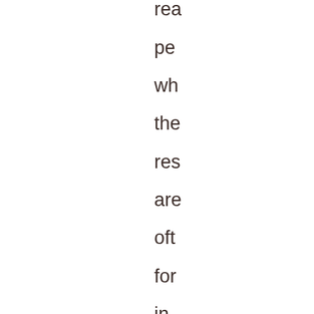rea
pe
wh
the
res
are
oft
for
in
na

l
he
tha
sh
ha
be
on